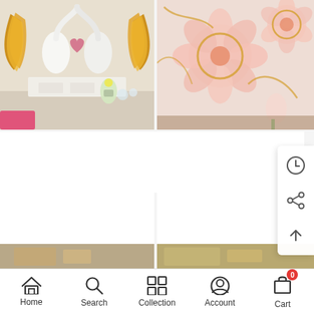[Figure (photo): Photo of decorative 3D wallpaper featuring golden swans in a living room setting with white furniture]
[Figure (photo): Photo of 3D wallpaper featuring pink phalaenopsis flowers with gold accents on a wall]
Avikalp Exclusive AWZ0267 3d Wallpaper 3d Mural Beautiful Love Theme Wedding Room Background Swan HD 3D Wallpaper
Avikalp Exclusive AWZ0084 Phalaenopsis Relief Wall Modern Fashion Floral Decorative HD 3D Wallpaper
[Figure (screenshot): Popup menu panel with clock/history icon, share icon, and upload/scroll-to-top icon]
[Figure (photo): Partial view of a third product image at the bottom left]
[Figure (photo): Partial view of a fourth product image at the bottom right]
Home  Search  Collection  Account  Cart